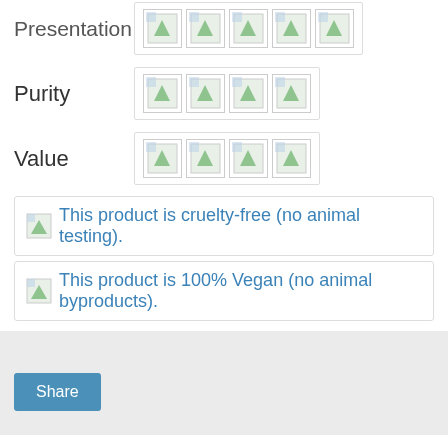Presentation [icons]
Purity [icons]
Value [icons]
This product is cruelty-free (no animal testing).
This product is 100% Vegan (no animal byproducts).
[Figure (other): Social share button area with Share button]
No comments:
Post a Comment
< Home >